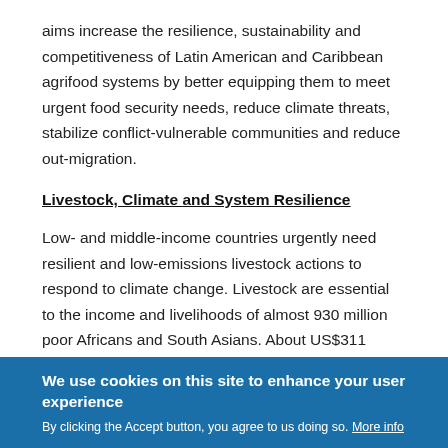aims increase the resilience, sustainability and competitiveness of Latin American and Caribbean agrifood systems by better equipping them to meet urgent food security needs, reduce climate threats, stabilize conflict-vulnerable communities and reduce out-migration.
Livestock, Climate and System Resilience
Low- and middle-income countries urgently need resilient and low-emissions livestock actions to respond to climate change. Livestock are essential to the income and livelihoods of almost 930 million poor Africans and South Asians. About US$311 billion in livestock production value is exposed to various climate hazards, especially drought, climate variability and heat stress. This initiative is led ILRI's
We use cookies on this site to enhance your user experience
By clicking the Accept button, you agree to us doing so. More info